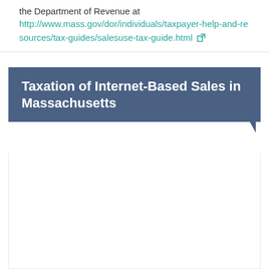the Department of Revenue at http://www.mass.gov/dor/individuals/taxpayer-help-and-resources/tax-guides/salesuse-tax-guide.html
Taxation of Internet-Based Sales in Massachusetts